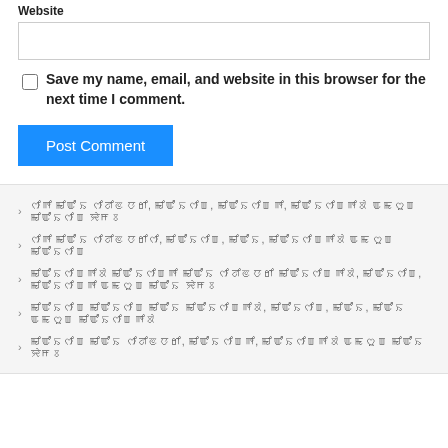Website
Save my name, email, and website in this browser for the next time I comment.
Post Comment
› [non-Latin text line 1]
› [non-Latin text line 2]
› [non-Latin text line 3]
› [non-Latin text line 4]
› [non-Latin text line 5]